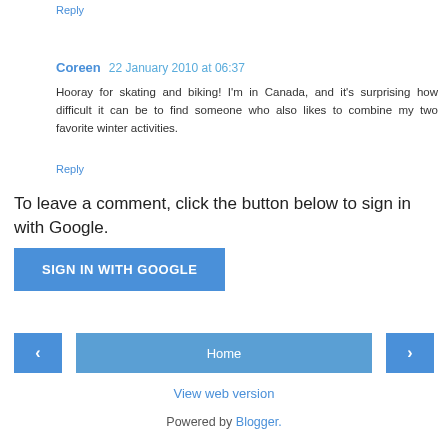Reply
Coreen  22 January 2010 at 06:37
Hooray for skating and biking! I'm in Canada, and it's surprising how difficult it can be to find someone who also likes to combine my two favorite winter activities.
Reply
To leave a comment, click the button below to sign in with Google.
SIGN IN WITH GOOGLE
Home
View web version
Powered by Blogger.